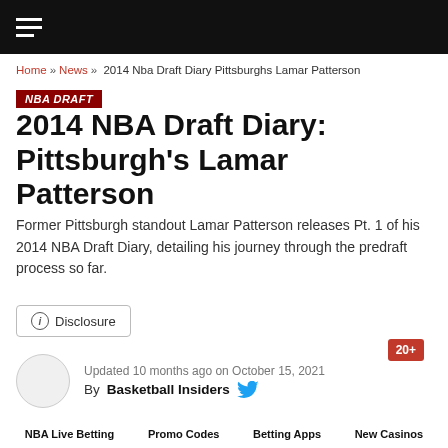NBA Draft Diary Pittsburgh's Lamar Patterson - Basketball Insiders
Home » News » 2014 Nba Draft Diary Pittsburghs Lamar Patterson
NBA DRAFT
2014 NBA Draft Diary: Pittsburgh's Lamar Patterson
Former Pittsburgh standout Lamar Patterson releases Pt. 1 of his 2014 NBA Draft Diary, detailing his journey through the predraft process so far.
Disclosure
Updated 10 months ago on October 15, 2021
By Basketball Insiders
NBA Live Betting | Promo Codes | Betting Apps | New Casinos